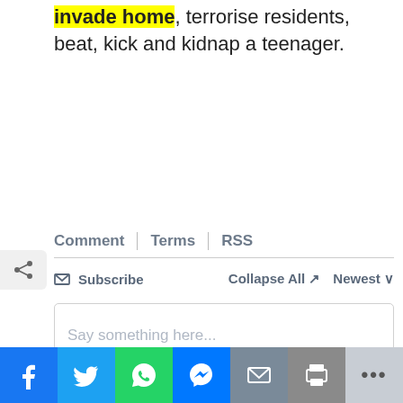invade home, terrorise residents, beat, kick and kidnap a teenager.
Comment | Terms | RSS
Subscribe   Collapse All   Newest
Say something here...
Be the first to comment.
[Figure (infographic): Social share bar with Facebook, Twitter, WhatsApp, Messenger, Email, Print, and more buttons]